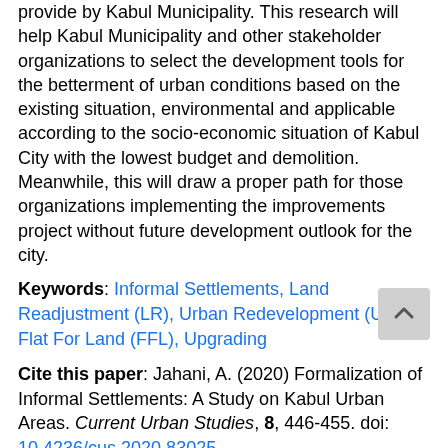provide by Kabul Municipality. This research will help Kabul Municipality and other stakeholder organizations to select the development tools for the betterment of urban conditions based on the existing situation, environmental and applicable according to the socio-economic situation of Kabul City with the lowest budget and demolition. Meanwhile, this will draw a proper path for those organizations implementing the improvements project without future development outlook for the city.
Keywords: Informal Settlements, Land Readjustment (LR), Urban Redevelopment (UR), Flat For Land (FFL), Upgrading
Cite this paper: Jahani, A. (2020) Formalization of Informal Settlements: A Study on Kabul Urban Areas. Current Urban Studies, 8, 446-455. doi: 10.4236/cus.2020.83025.
References